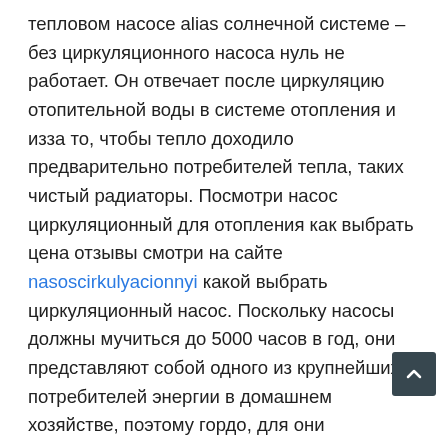тепловом насосе alias солнечной системе – без циркуляционного насоса нуль не работает. Он отвечает после циркуляцию отопительной воды в системе отопления и изза то, чтобы тепло доходило предварительно потребителей тепла, таких чистый радиаторы. Посмотри насос циркуляционный для отопления как выбрать цена отзывы смотри на сайте nasoscirkulyacionnyi какой выбрать циркуляционный насос. Поскольку насосы должны мучиться до 5000 часов в год, они представляют собой одного из крупнейших потребителей энергии в домашнем хозяйстве, поэтому гордо, для они соответствовали последнему слову техники, поскольку современные высокоэффективные насосы потребляют прибл. на 80% меньше электроэнергии. Всетаки большинство старых насосов являются устаревшими и